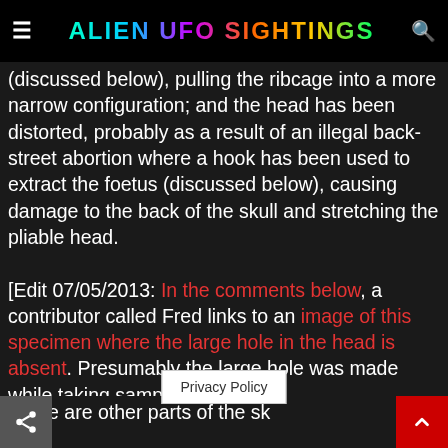ALIEN UFO SIGHTINGS
(discussed below), pulling the ribcage into a more narrow configuration; and the head has been distorted, probably as a result of an illegal back-street abortion where a hook has been used to extract the foetus (discussed below), causing damage to the back of the skull and stretching the pliable head.
[Edit 07/05/2013: In the comments below, a contributor called Fred links to an image of this specimen where the large hole in the head is absent. Presumably the large hole was made while taking samples for testing.
There are other parts of the sk[ull that the h]ook ma[y...]
Privacy Policy